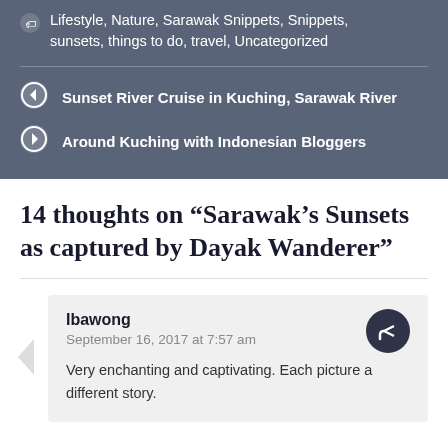Lifestyle, Nature, Sarawak Snippets, Snippets, sunsets, things to do, travel, Uncategorized
Sunset River Cruise in Kuching, Sarawak River
Around Kuching with Indonesian Bloggers
14 thoughts on “Sarawak’s Sunsets as captured by Dayak Wanderer”
Ibawong
September 16, 2017 at 7:57 am

Very enchanting and captivating. Each picture a different story.